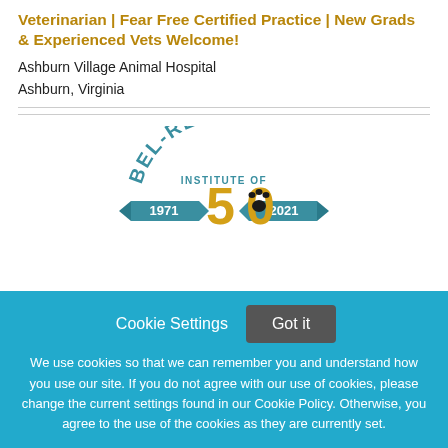Veterinarian | Fear Free Certified Practice | New Grads & Experienced Vets Welcome!
Ashburn Village Animal Hospital
Ashburn, Virginia
[Figure (logo): Bel-Rea Institute of Animal Technology 50th anniversary logo (1971-2021), featuring arched teal text 'BEL-REA INSTITUTE OF' above a large gold '50' with a paw print and flanking banner ribbons showing '1971' and '2021']
Cookie Settings
Got it
We use cookies so that we can remember you and understand how you use our site. If you do not agree with our use of cookies, please change the current settings found in our Cookie Policy. Otherwise, you agree to the use of the cookies as they are currently set.